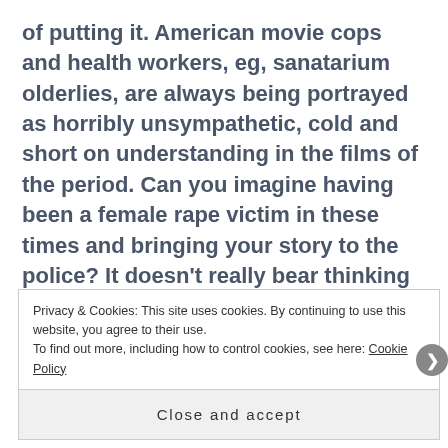of putting it. American movie cops and health workers, eg, sanatarium olderlies, are always being portrayed as horribly unsympathetic, cold and short on understanding in the films of the period. Can you imagine having been a female rape victim in these times and bringing your story to the police? It doesn’t really bear thinking about, does it? I suppose it was the same in all countries back then.
Privacy & Cookies: This site uses cookies. By continuing to use this website, you agree to their use. To find out more, including how to control cookies, see here: Cookie Policy
Close and accept